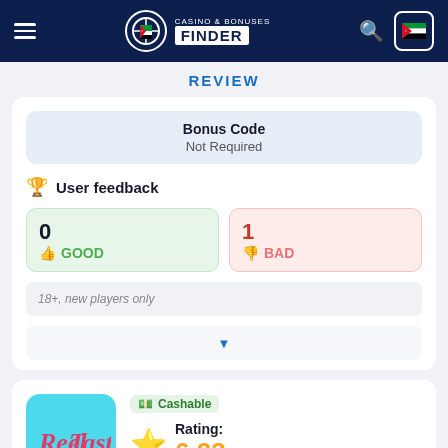Casino & Bonuses Finder
REVIEW
| Bonus Code |
| --- |
| Not Required |
User feedback
0 GOOD
1 BAD
18+, new players only
Cashable
Rating: 6.23/10
Available for players from Jordan